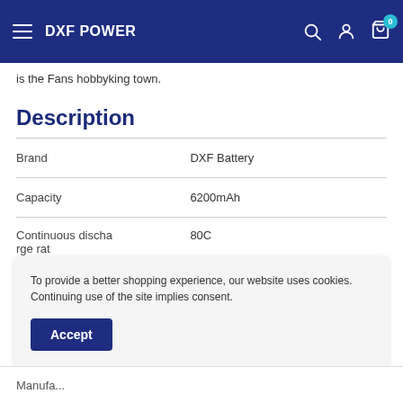DXF POWER
is the Fans hobbyking town.
Description
|  |  |
| --- | --- |
| Brand | DXF Battery |
| Capacity | 6200mAh |
| Continuous discharge rat | 80C |
To provide a better shopping experience, our website uses cookies. Continuing use of the site implies consent.
Accept